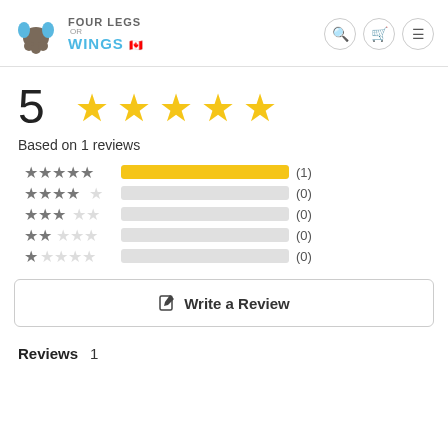[Figure (logo): Four Legs or Wings logo with bird/paw icon and Canadian flag]
5
[Figure (infographic): 5 gold stars rating display]
Based on 1 reviews
[Figure (infographic): Rating breakdown bars: 5-star (1), 4-star (0), 3-star (0), 2-star (0), 1-star (0)]
Write a Review
Reviews  1